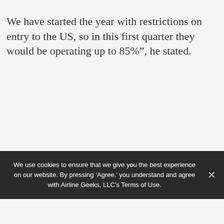compared to the same month in 2019.
We have started the year with restrictions on entry to the US, so in this first quarter they would be operating up to 85%”, he stated.
We use cookies to ensure that we give you the best experience on our website. By pressing ‘Agree.’ you understand and agree with Airline Geeks, LLC’s Terms of Use.